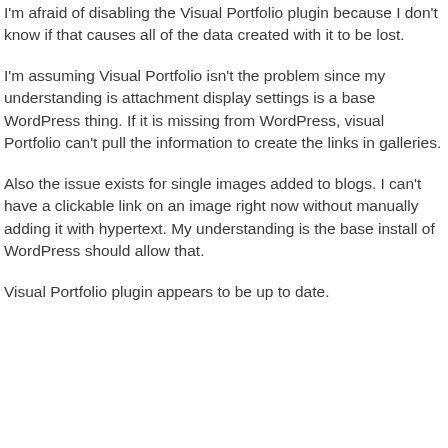I'm afraid of disabling the Visual Portfolio plugin because I don't know if that causes all of the data created with it to be lost.
I'm assuming Visual Portfolio isn't the problem since my understanding is attachment display settings is a base WordPress thing. If it is missing from WordPress, visual Portfolio can't pull the information to create the links in galleries.
Also the issue exists for single images added to blogs. I can't have a clickable link on an image right now without manually adding it with hypertext. My understanding is the base install of WordPress should allow that.
Visual Portfolio plugin appears to be up to date.